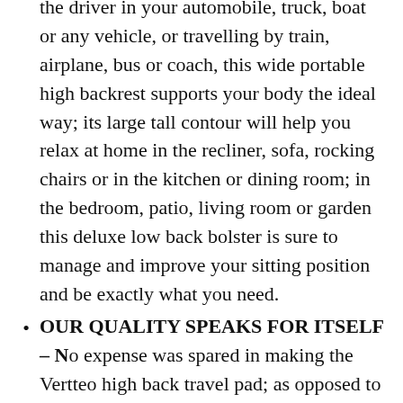the driver in your automobile, truck, boat or any vehicle, or travelling by train, airplane, bus or coach, this wide portable high backrest supports your body the ideal way; its large tall contour will help you relax at home in the recliner, sofa, rocking chairs or in the kitchen or dining room; in the bedroom, patio, living room or garden this deluxe low back bolster is sure to manage and improve your sitting position and be exactly what you need.
OUR QUALITY SPEAKS FOR ITSELF – No expense was spared in making the Vertteo high back travel pad; as opposed to cheap cushions, we have 100% pure molded memory foam which insures a firm comfy fit; the long adjustable elastic strap with a secure clasp will keep the pillow in place no matter how much